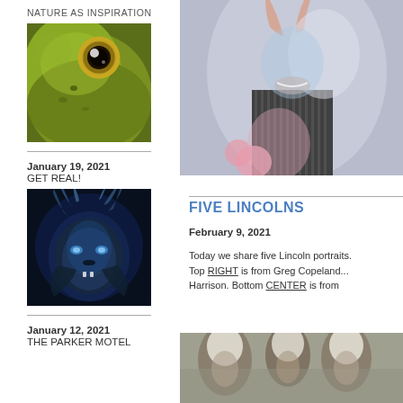NATURE AS INSPIRATION
[Figure (illustration): Close-up illustration of a frog's face with large golden eye, green and brown coloring]
January 19, 2021
GET REAL!
[Figure (illustration): Dark fantasy illustration of a beast/monster creature with horns, blue tones]
January 12, 2021
THE PARKER MOTEL
[Figure (illustration): Partial illustration of a figure in soft pastel tones, appears to be a seated person]
FIVE LINCOLNS
February 9, 2021
Today we share five Lincoln portraits. Top RIGHT is from Greg Copeland... Harrison. Bottom CENTER is from
[Figure (illustration): Bottom cropped illustration showing figures in muted tones]